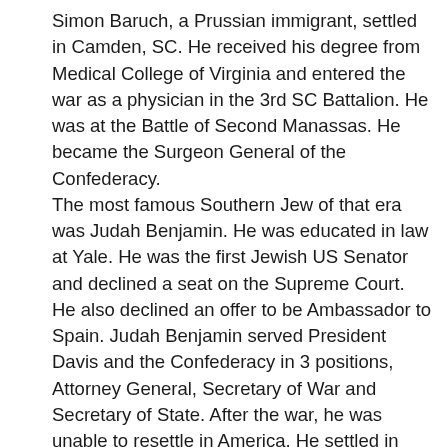Simon Baruch, a Prussian immigrant, settled in Camden, SC. He received his degree from Medical College of Virginia and entered the war as a physician in the 3rd SC Battalion. He was at the Battle of Second Manassas. He became the Surgeon General of the Confederacy. The most famous Southern Jew of that era was Judah Benjamin. He was educated in law at Yale. He was the first Jewish US Senator and declined a seat on the Supreme Court. He also declined an offer to be Ambassador to Spain. Judah Benjamin served President Davis and the Confederacy in 3 positions, Attorney General, Secretary of War and Secretary of State. After the war, he was unable to resettle in America. He settled in England, where he became a notable lawyer. He also wrote legal text while a lawyer in England. Moses Jacob Ezekiel of Richmond, fought in New Market with his fellow cadets from VMI. He became a noted sculpture. His mother, Catherine Ezekiel was to [Message] said, "she would not tolerate a son who declined to fight